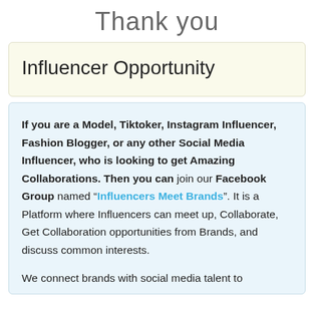Thank you
Influencer Opportunity
If you are a Model, Tiktoker, Instagram Influencer, Fashion Blogger, or any other Social Media Influencer, who is looking to get Amazing Collaborations. Then you can join our Facebook Group named “Influencers Meet Brands”. It is a Platform where Influencers can meet up, Collaborate, Get Collaboration opportunities from Brands, and discuss common interests.
We connect brands with social media talent to